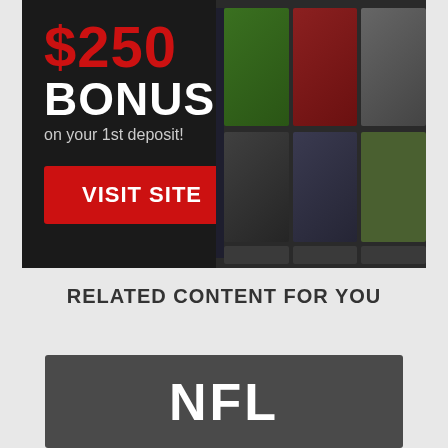[Figure (screenshot): Sports betting website advertisement banner showing '$250 BONUS on your 1st deposit!' with a red VISIT SITE button on a dark background, alongside screenshots of the betting website interface with sports imagery]
RELATED CONTENT FOR YOU
[Figure (screenshot): Dark gray card with white bold text reading 'NFL']